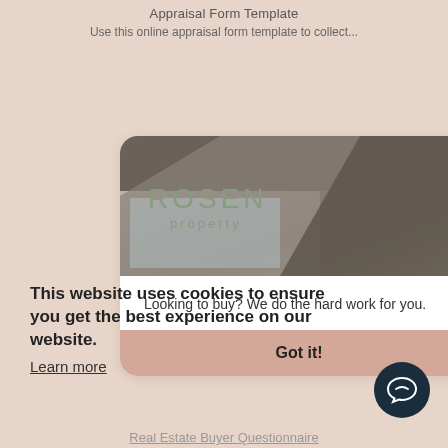Appraisal Form Template
Use this online appraisal form template to collect...
[Figure (screenshot): Screenshot of a property website card for 'ROSEN property' showing a concrete architecture photo, tagline 'Looking to buy? We do the hard work for you.' and a 'Got it!' button in dusty rose color]
This website uses cookies to ensure you get the best experience on our website.
Learn more
Real Estate Buyer Questionnaire